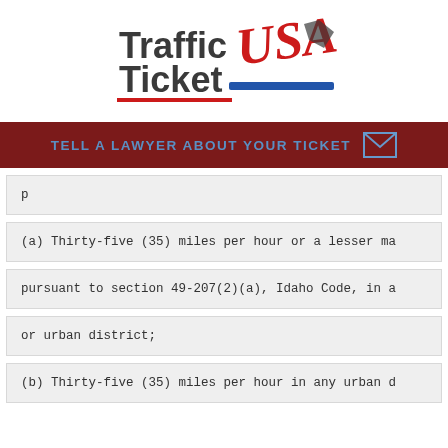[Figure (logo): Traffic Ticket USA logo with red and blue text]
TELL A LAWYER ABOUT YOUR TICKET
(a) Thirty-five (35) miles per hour or a lesser ma
pursuant to section 49-207(2)(a), Idaho Code, in a
or urban district;
(b) Thirty-five (35) miles per hour in any urban d